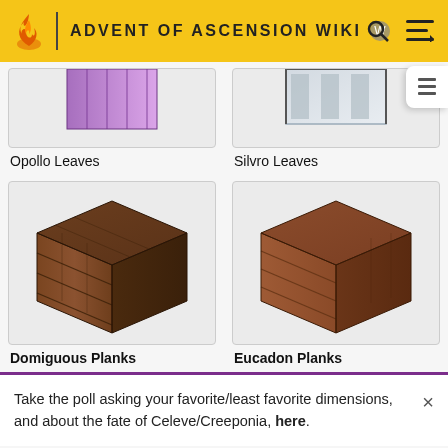ADVENT OF ASCENSION WIKI
Opollo Leaves
Silvro Leaves
[Figure (screenshot): Minecraft block: Domiguous Planks - dark brown wooden planks block in isometric view]
Domiguous Planks
[Figure (screenshot): Minecraft block: Eucadon Planks - medium brown wooden planks block in isometric view]
Eucadon Planks
Take the poll asking your favorite/least favorite dimensions, and about the fate of Celeve/Creeponia, here.